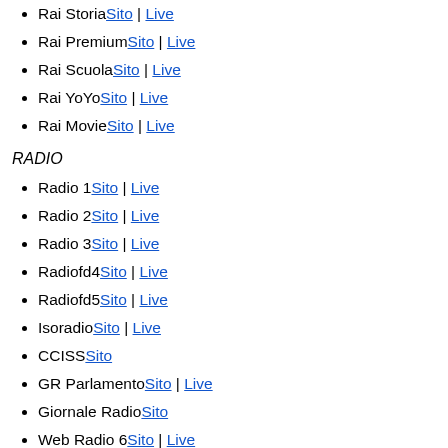Rai Storia Sito | Live
Rai Premium Sito | Live
Rai Scuola Sito | Live
Rai YoYo Sito | Live
Rai Movie Sito | Live
RADIO
Radio 1 Sito | Live
Radio 2 Sito | Live
Radio 3 Sito | Live
Radiofd4 Sito | Live
Radiofd5 Sito | Live
Isoradio Sito | Live
CCISS Sito
GR Parlamento Sito | Live
Giornale Radio Sito
Web Radio 6 Sito | Live
Web Radio 7 Sito | Live
Web Radio 8 Sito | Live
PORTALI WEB
Rai.tv
Nuovi Talenti
RaiEducational